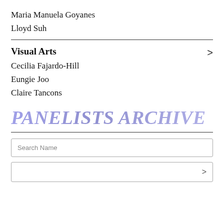Maria Manuela Goyanes
Lloyd Suh
Visual Arts
Cecilia Fajardo-Hill
Eungie Joo
Claire Tancons
PANELISTS ARCHIVE
Search Name